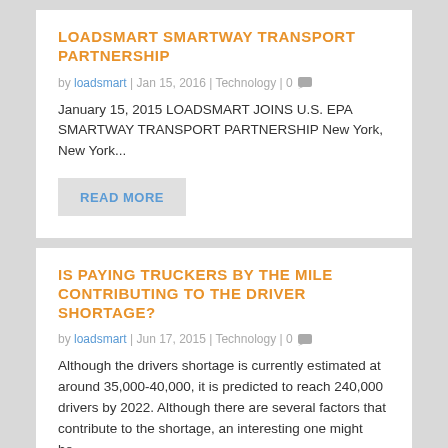LOADSMART SMARTWAY TRANSPORT PARTNERSHIP
by loadsmart | Jan 15, 2016 | Technology | 0
January 15, 2015 LOADSMART JOINS U.S. EPA SMARTWAY TRANSPORT PARTNERSHIP New York, New York...
READ MORE
IS PAYING TRUCKERS BY THE MILE CONTRIBUTING TO THE DRIVER SHORTAGE?
by loadsmart | Jun 17, 2015 | Technology | 0
Although the drivers shortage is currently estimated at around 35,000-40,000, it is predicted to reach 240,000 drivers by 2022. Although there are several factors that contribute to the shortage, an interesting one might be...